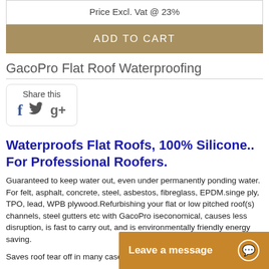Price Excl. Vat @ 23%
ADD TO CART
GacoPro Flat Roof Waterproofing
Share this
Waterproofs Flat Roofs, 100% Silicone.. For Professional Roofers.
Guaranteed to keep water out, even under permanently ponding water. For felt, asphalt, concrete, steel, asbestos, fibreglass, EPDM.singe ply, TPO, lead, WPB plywood.Refurbishing your flat or low pitched roof(s) channels, steel gutters etc with GacoPro iseconomical, causes less disruption, is fast to carry out, and is environmentally friendly energy saving.
Saves roof tear off in many cases.
If roof basically in sound condition, GacoPro adds another 20 years at least to its life.
White finish (available) means
Leave a message